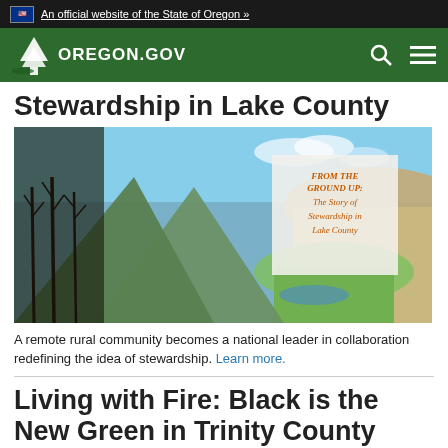An official website of the State of Oregon »
[Figure (logo): Oregon.gov logo with tree and navigation bar]
Stewardship in Lake County
[Figure (photo): Landscape photo of Lake County with overlay text: FROM THE GROUND UP: The Story of Stewardship in Lake County]
A remote rural community becomes a national leader in collaboration redefining the idea of stewardship. Learn more.
Living with Fire: Black is the New Green in Trinity County